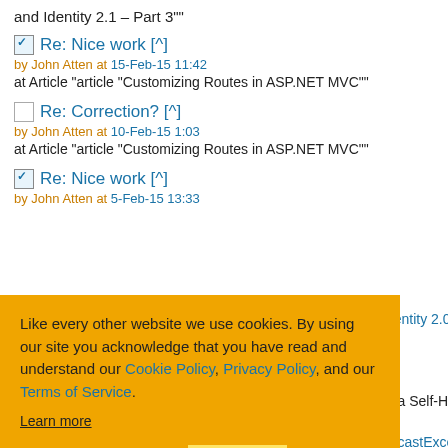and Identity 2.1 – Part 3""
Re: Nice work [^] by John Atten at 15-Feb-15 11:42 at Article "article "Customizing Routes in ASP.NET MVC""
Re: Correction? [^] by John Atten at 10-Feb-15 1:03 at Article "article "Customizing Routes in ASP.NET MVC""
Re: Nice work [^] by John Atten at 5-Feb-15 13:33
[Figure (other): Cookie consent banner overlay with orange background. Text: 'Like every other website we use cookies. By using our site you acknowledge that you have read and understand our Cookie Policy, Privacy Policy, and our Terms of Service. Learn more'. Buttons: 'Ask me later', 'Decline', 'Allow cookies'.]